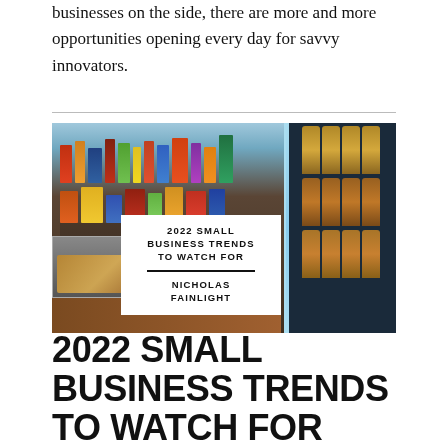businesses on the side, there are more and more opportunities opening every day for savvy innovators.
[Figure (photo): Photo of a small convenience store interior showing shelves with products, a display case with candy/snacks, and a refrigerator with bottles on the right side. Overlaid with a white box containing the title '2022 SMALL BUSINESS TRENDS TO WATCH FOR' and author name 'NICHOLAS FAINLIGHT'.]
2022 SMALL BUSINESS TRENDS TO WATCH FOR